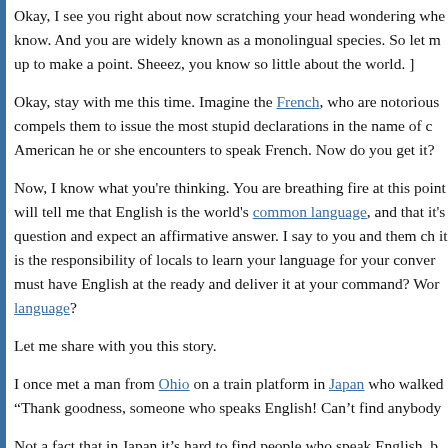Okay, I see you right about now scratching your head wondering whe know. And you are widely known as a monolingual species. So let m up to make a point. Sheeez, you know so little about the world. ]
Okay, stay with me this time. Imagine the French, who are notorious compels them to issue the most stupid declarations in the name of c American he or she encounters to speak French. Now do you get it?
Now, I know what you're thinking. You are breathing fire at this point will tell me that English is the world's common language, and that it's question and expect an affirmative answer. I say to you and them ch it is the responsibility of locals to learn your language for your conver must have English at the ready and deliver it at your command? Wor language?
Let me share with you this story.
I once met a man from Ohio on a train platform in Japan who walked “Thank goodness, someone who speaks English! Can’t find anybody
Not a fact that in Japan it’s hard to find people who speak English, b they speak Japanese!